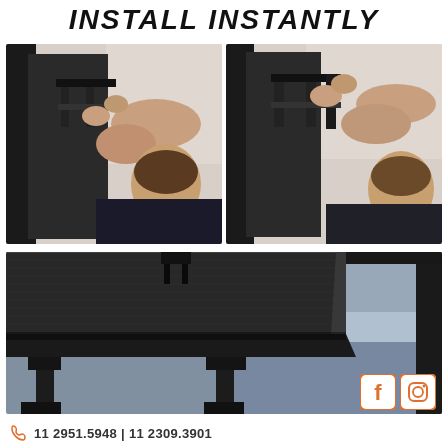INSTALL INSTANTLY
[Figure (photo): Two side-by-side photos showing a person installing a TV shelf bracket onto the back of a flat screen TV against a wall]
[Figure (photo): Close-up photo of a black carbon-fiber textured shelf mounted on top of a flat screen TV/monitor]
11 2951.5948 | 11 2309.3901